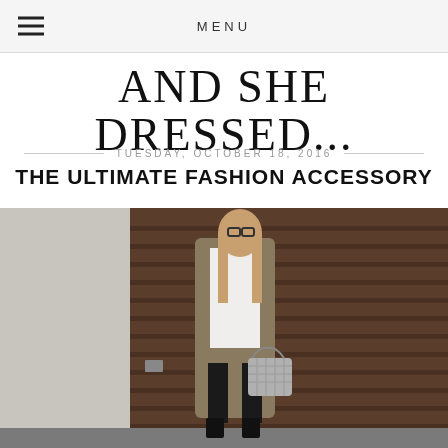MENU
AND SHE DRESSED...
TUESDAY, OCTOBER 18, 2016
THE ULTIMATE FASHION ACCESSORY
[Figure (photo): Fashion blogger wearing glasses, olive/khaki long trench coat over white blouse and black pants, holding a silver quilted chain handbag, standing in front of a wooden garage door]